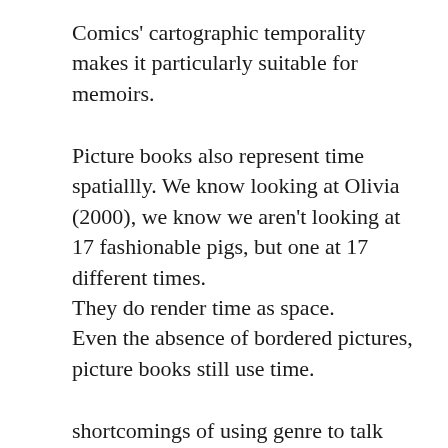Comics' cartographic temporality makes it particularly suitable for memoirs.
Picture books also represent time spatiallly. We know looking at Olivia (2000), we know we aren't looking at 17 fashionable pigs, but one at 17 different times.
They do render time as space.
Even the absence of bordered pictures, picture books still use time.
shortcomings of using genre to talk about form
spatial temporality in both
but panels offer multiple views
aspect to aspect